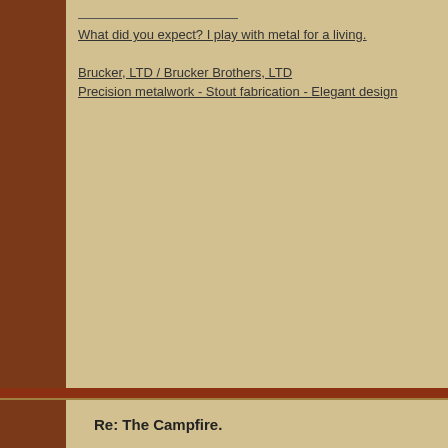What did you expect? I play with metal for a living.

Brucker, LTD / Brucker Brothers, LTD
Precision metalwork - Stout fabrication - Elegant design
April 1st, 2022
[Figure (photo): A lifted gray pickup truck in a snowy mountain setting with pine trees in the background. TDash is OFFLINE. 2022 Wheeler badge shown below photo.]
Join D
Memb
Last C
Locati
Age:
4x4:
Posts:
User N
Real N
Thank
Thank
BACK TO TOP
Re: The Campfire.